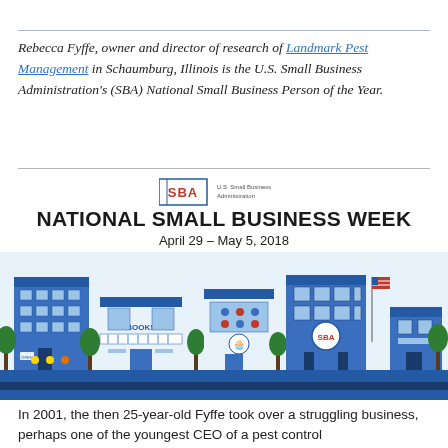Rebecca Fyffe, owner and director of research of Landmark Pest Management in Schaumburg, Illinois is the U.S. Small Business Administration's (SBA) National Small Business Person of the Year.
[Figure (logo): SBA U.S. Small Business Administration logo]
NATIONAL SMALL BUSINESS WEEK
April 29 – May 5, 2018
[Figure (illustration): Colorful illustrated street scene of small businesses including a bookstore, cupcake shop, SBA office, and other storefronts with trees and an American flag]
In 2001, the then 25-year-old Fyffe took over a struggling business, perhaps one of the youngest CEO of a pest control